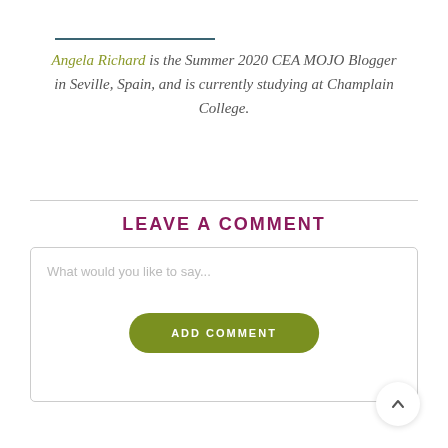Angela Richard is the Summer 2020 CEA MOJO Blogger in Seville, Spain, and is currently studying at Champlain College.
LEAVE A COMMENT
What would you like to say...